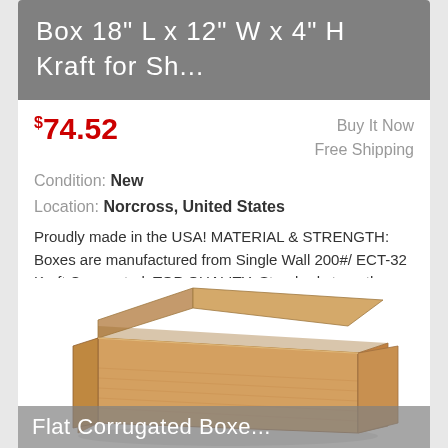Box 18" L x 12" W x 4" H Kraft for Sh...
$74.52
Buy It Now
Free Shipping
Condition: New
Location: Norcross, United States
Proudly made in the USA! MATERIAL & STRENGTH: Boxes are manufactured from Single Wall 200#/ ECT-32 Kraft Corrugated. TOP QUALITY: Standard strength industrial ... more
[Figure (photo): An open flat corrugated cardboard box, kraft brown color, viewed from above at an angle, with flaps open.]
Flat Corrugated Boxe...